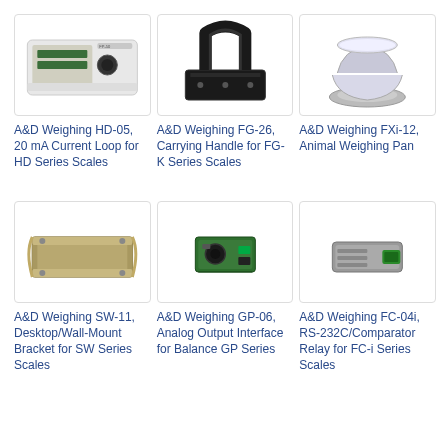[Figure (photo): A&D Weighing HD-05, 20 mA Current Loop for HD Series Scales - white rectangular device with circuit board]
A&D Weighing HD-05, 20 mA Current Loop for HD Series Scales
[Figure (photo): A&D Weighing FG-26, Carrying Handle for FG-K Series Scales - black C-clamp style handle on flat plate]
A&D Weighing FG-26, Carrying Handle for FG-K Series Scales
[Figure (photo): A&D Weighing FXi-12, Animal Weighing Pan - silver bowl/pan on white base]
A&D Weighing FXi-12, Animal Weighing Pan
[Figure (photo): A&D Weighing SW-11, Desktop/Wall-Mount Bracket for SW Series Scales - metal bracket]
A&D Weighing SW-11, Desktop/Wall-Mount Bracket for SW Series Scales
[Figure (photo): A&D Weighing GP-06, Analog Output Interface for Balance GP Series - small green circuit module]
A&D Weighing GP-06, Analog Output Interface for Balance GP Series
[Figure (photo): A&D Weighing FC-04i, RS-232C/Comparator Relay for FC-i Series Scales - small gray module with green connector]
A&D Weighing FC-04i, RS-232C/Comparator Relay for FC-i Series Scales